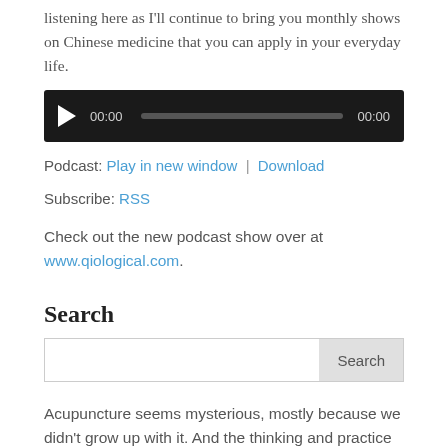listening here as I'll continue to bring you monthly shows on Chinese medicine that you can apply in your everyday life.
[Figure (other): Audio player widget with play button, time display (00:00), progress bar, and end time (00:00) on a dark background.]
Podcast: Play in new window | Download
Subscribe: RSS
Check out the new podcast show over at www.qiological.com.
Search
Acupuncture seems mysterious, mostly because we didn't grow up with it. And the thinking and practice